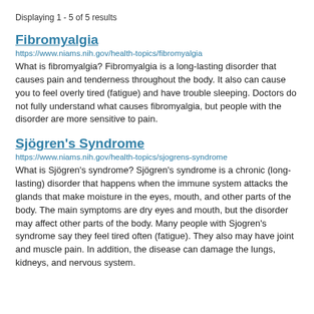Displaying 1 - 5 of 5 results
Fibromyalgia
https://www.niams.nih.gov/health-topics/fibromyalgia
What is fibromyalgia? Fibromyalgia is a long-lasting disorder that causes pain and tenderness throughout the body. It also can cause you to feel overly tired (fatigue) and have trouble sleeping. Doctors do not fully understand what causes fibromyalgia, but people with the disorder are more sensitive to pain.
Sjögren's Syndrome
https://www.niams.nih.gov/health-topics/sjogrens-syndrome
What is Sjögren's syndrome? Sjögren's syndrome is a chronic (long-lasting) disorder that happens when the immune system attacks the glands that make moisture in the eyes, mouth, and other parts of the body. The main symptoms are dry eyes and mouth, but the disorder may affect other parts of the body. Many people with Sjogren's syndrome say they feel tired often (fatigue). They also may have joint and muscle pain. In addition, the disease can damage the lungs, kidneys, and nervous system.